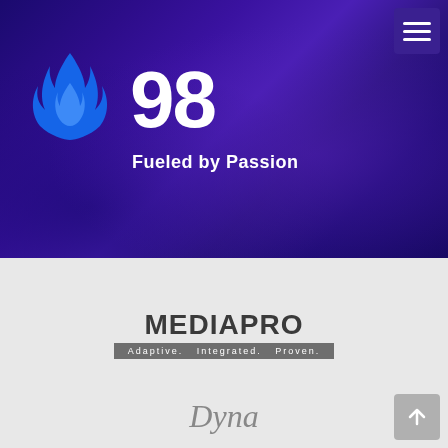[Figure (illustration): Dark purple gradient background hero section with navigation hamburger menu in top right, blue flame icon on left, large number 98 and tagline Fueled by Passion]
98
Fueled by Passion
[Figure (logo): MEDIAPRO logo with tagline Adaptive. Integrated. Proven. on grey background]
MEDIAPRO
Adaptive.   Integrated.   Proven.